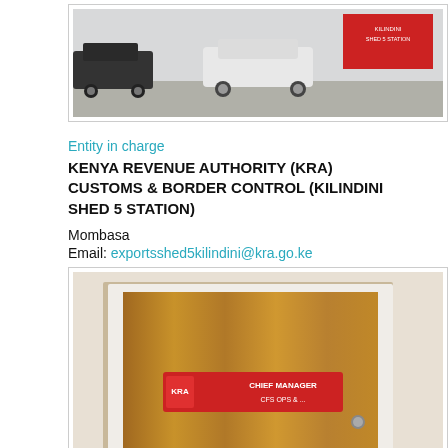[Figure (photo): Photo of cars parked outside a building with a red sign reading KILINDINI SHED 5 STATION]
Entity in charge
KENYA REVENUE AUTHORITY (KRA) CUSTOMS & BORDER CONTROL (KILINDINI SHED 5 STATION)
Mombasa
Email: exportsshed5kilindini@kra.go.ke
[Figure (photo): Photo of a wooden door with a red nameplate reading CHIEF MANAGER and office number]
Unit in charge
OFFICE OF THE HEAD CONTAINERISED CARGO AND CFS OPERATIONS (KRA) (KILINDINI)
Mon:   00:01 - 00:00
Tue:   00:01 - 00:00
Wed:   00:01 - 00:00